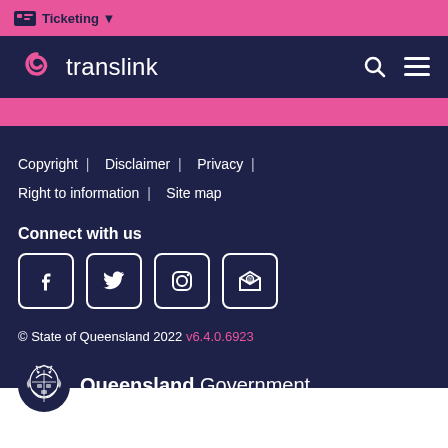Ticketing
[Figure (logo): Translink logo with swirl icon and text 'translink', search and menu icons on right]
Copyright | Disclaimer | Privacy | Right to information | Site map
Connect with us
[Figure (infographic): Four social media icons: Facebook, Twitter, Instagram, Email/envelope]
© State of Queensland 2022 v6.4.0.6923
[Figure (logo): Queensland Government crest logo with text 'Queensland Government']